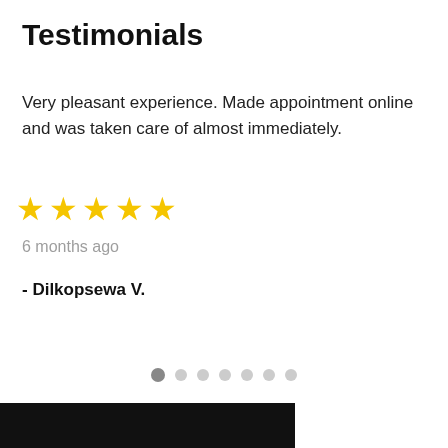Testimonials
Very pleasant experience. Made appointment online and was taken care of almost immediately.
[Figure (other): Five yellow star rating icons]
6 months ago
- Dilkopsewa V.
[Figure (other): Carousel navigation dots, 7 total, first dot active/dark, rest light gray]
[Figure (other): Black rectangular bar at bottom of page]